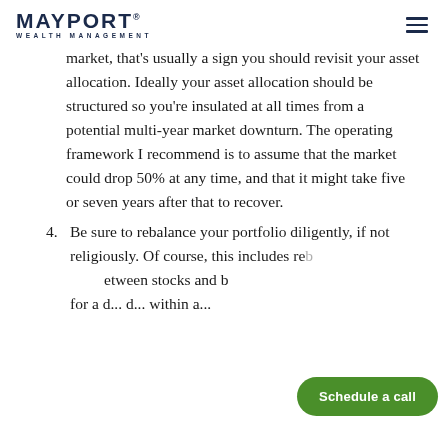MAYPORT WEALTH MANAGEMENT
market, that's usually a sign you should revisit your asset allocation. Ideally your asset allocation should be structured so you're insulated at all times from a potential multi-year market downturn. The operating framework I recommend is to assume that the market could drop 50% at any time, and that it might take five or seven years after that to recover.
4. Be sure to rebalance your portfolio diligently, if not religiously. Of course, this includes re... between stocks and b... for a d... d... within a...